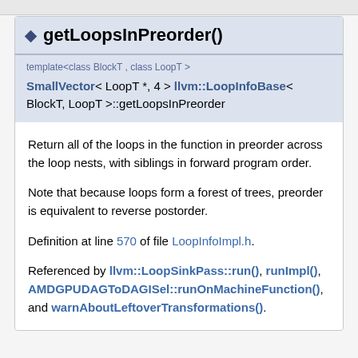getLoopsInPreorder()
template<class BlockT , class LoopT >
SmallVector< LoopT *, 4 > llvm::LoopInfoBase< BlockT, LoopT >::getLoopsInPreorder
Return all of the loops in the function in preorder across the loop nests, with siblings in forward program order.
Note that because loops form a forest of trees, preorder is equivalent to reverse postorder.
Definition at line 570 of file LoopInfoImpl.h.
Referenced by llvm::LoopSinkPass::run(), runImpl(), AMDGPUDAGToDAGISel::runOnMachineFunction(), and warnAboutLeftoverTransformations().